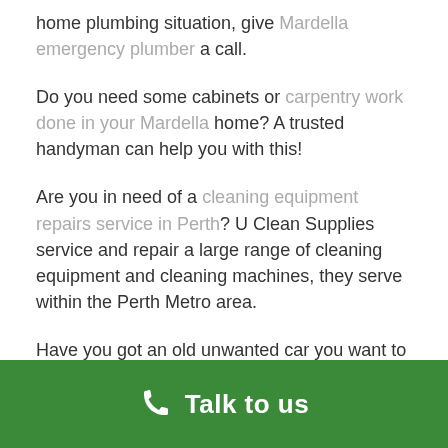home plumbing situation, give Mardella emergency plumber a call.
Do you need some cabinets or carpentry work done in your Mardella home? A trusted handyman can help you with this!
Are you in need of a cleaning equipment repairs service in Perth? U Clean Supplies service and repair a large range of cleaning equipment and cleaning machines, they serve within the Perth Metro area.
Have you got an old unwanted car you want to get rid of? Get cash for cars Mardella – Cash for Cars Perth will come to you and pay you to get rid of that car!
Talk to us